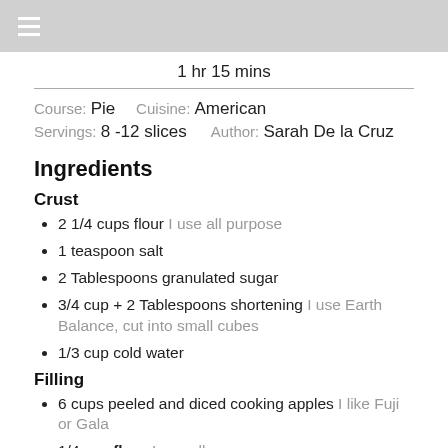☰
1 hr 15 mins
Course: Pie    Cuisine: American
Servings: 8 -12 slices    Author: Sarah De la Cruz
Ingredients
Crust
2 1/4 cups flour I use all purpose
1 teaspoon salt
2 Tablespoons granulated sugar
3/4 cup + 2 Tablespoons shortening I use Earth Balance, cut into small cubes
1/3 cup cold water
Filling
6 cups peeled and diced cooking apples I like Fuji or Gala
1/4 cup flour I use all purpose